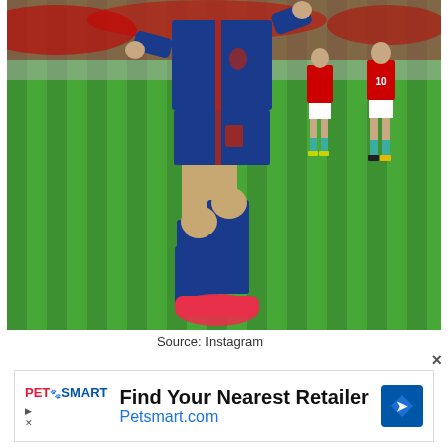[Figure (photo): Soccer players on a pitch. A player in a blue England kit with red accents and pink/red boots is running, with another England player (number 5) behind them. Opposition players in red kits and teal socks are in the background. Green grass pitch visible.]
Source: Instagram
[Figure (other): Advertisement banner for PetSmart. Shows PetSmart logo in red and blue, text 'Find Your Nearest Retailer' in bold black and 'Petsmart.com' in blue, with a blue diamond navigation icon on the right.]